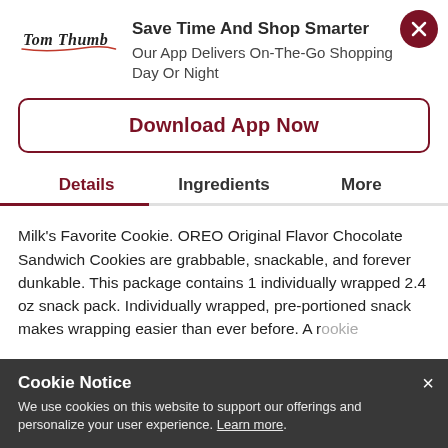[Figure (logo): Tom Thumb cursive logo with red underline]
Save Time And Shop Smarter
Our App Delivers On-The-Go Shopping Day Or Night
Download App Now
Details	Ingredients	More
Milk's Favorite Cookie. OREO Original Flavor Chocolate Sandwich Cookies are grabbable, snackable, and forever dunkable. This package contains 1 individually wrapped 2.4 oz snack pack. Individually wrapped, pre-portioned snack makes wrapping easier than ever before. A resealable package helps keep your cookies fresh with the ones or sharing
Cookie Notice
We use cookies on this website to support our offerings and personalize your user experience. Learn more.